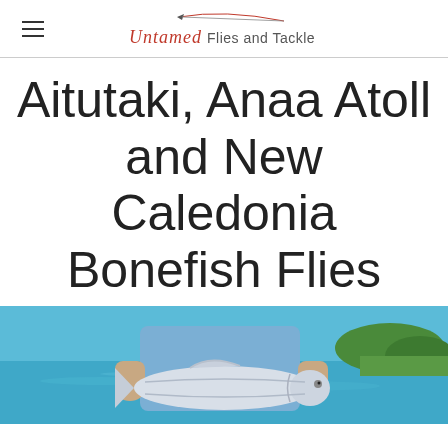Untamed Flies and Tackle
Aitutaki, Anaa Atoll and New Caledonia Bonefish Flies
[Figure (photo): Person holding a large bonefish with turquoise water and tropical vegetation in the background]